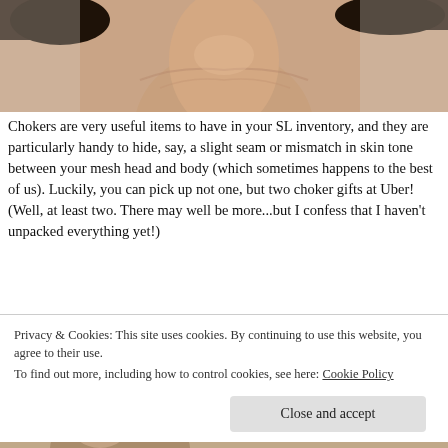[Figure (photo): Close-up photo of a person's neck and upper chest/shoulders area, showing skin, likely a Second Life avatar or model with dark hair visible at top.]
Chokers are very useful items to have in your SL inventory, and they are particularly handy to hide, say, a slight seam or mismatch in skin tone between your mesh head and body (which sometimes happens to the best of us). Luckily, you can pick up not one, but two choker gifts at Uber! (Well, at least two. There may well be more...but I confess that I haven't unpacked everything yet!)
The Reckless choker by Avec Toi comes in a
Privacy & Cookies: This site uses cookies. By continuing to use this website, you agree to their use.
To find out more, including how to control cookies, see here: Cookie Policy
Close and accept
[Figure (photo): Partial view of a Second Life avatar wearing the Reckless choker, with text 'RECKLESS CHOKER' visible in the corner.]